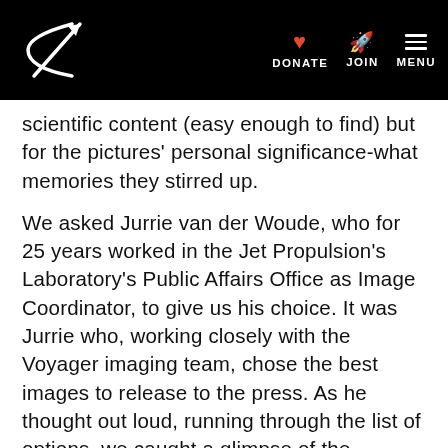Planetary Society — DONATE | JOIN | MENU
scientific content (easy enough to find) but for the pictures' personal significance-what memories they stirred up.
We asked Jurrie van der Woude, who for 25 years worked in the Jet Propulsion's Laboratory's Public Affairs Office as Image Coordinator, to give us his choice. It was Jurrie who, working closely with the Voyager imaging team, chose the best images to release to the press. As he thought out loud, running through the list of options, we caught a glimpse of the nostalgia and